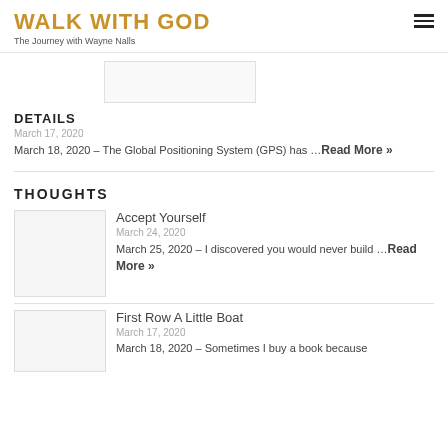WALK WITH GOD
The Journey with Wayne Nalls
DETAILS
March 17, 2020
March 18, 2020 – The Global Positioning System (GPS) has …Read More »
THOUGHTS
Accept Yourself
March 24, 2020
March 25, 2020 – I discovered you would never build …Read More »
First Row A Little Boat
March 17, 2020
March 18, 2020 – Sometimes I buy a book because